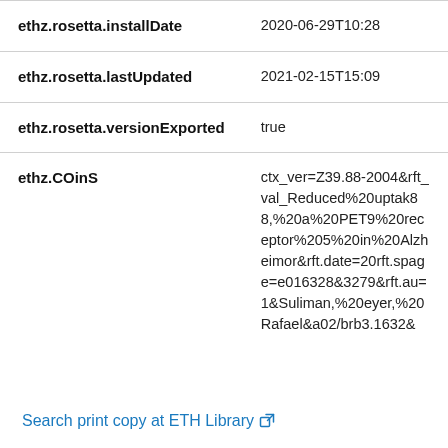| Field | Value |
| --- | --- |
| ethz.rosetta.installDate | 2020-06-29T10:28 |
| ethz.rosetta.lastUpdated | 2021-02-15T15:09 |
| ethz.rosetta.versionExported | true |
| ethz.COinS | ctx_ver=Z39.88-2004&amp;rft_val_Reduced%20uptak88,%20a%20PET9%20receptor%205%20in%20Alzheimor&amp;rft.date=20rft.spage=e016328&3279&amp;rft.au=1&amp;Suliman,%20eyer,%20Rafael&a02/brb3.1632&amp |
Search print copy at ETH Library